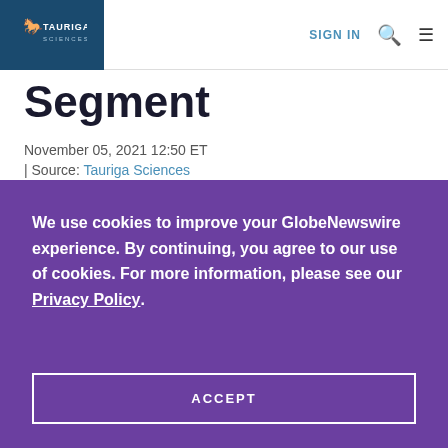TAURIGA SCIENCES | SIGN IN
Segment
November 05, 2021 12:50 ET
| Source: Tauriga Sciences
We use cookies to improve your GlobeNewswire experience. By continuing, you agree to our use of cookies. For more information, please see our Privacy Policy.
ACCEPT